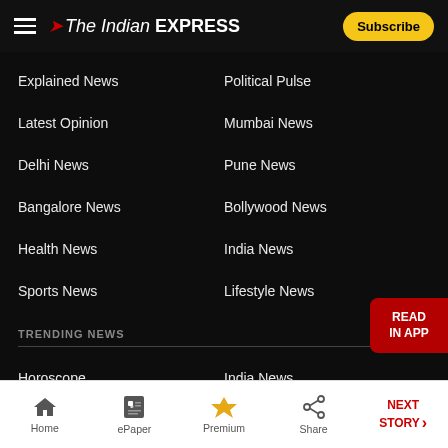The Indian EXPRESS — Subscribe
Explained News
Political Pulse
Latest Opinion
Mumbai News
Delhi News
Pune News
Bangalore News
Bollywood News
Health News
India News
Sports News
Lifestyle News
TRENDING NEWS
Horoscope
India News
Art & Craft Classes For Kids
Fitness Classes For Kids
Home | ePaper | Premium | Share | NEXT STORY